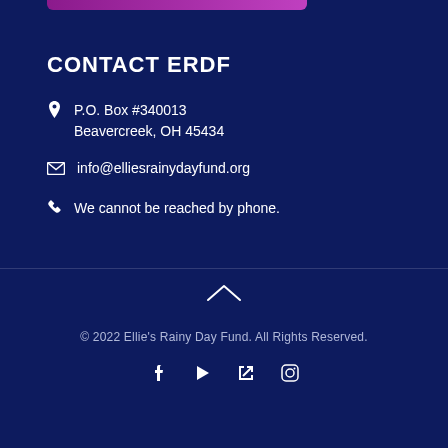CONTACT ERDF
P.O. Box #340013
Beavercreek, OH 45434
info@elliesrainydayfund.org
We cannot be reached by phone.
© 2022 Ellie's Rainy Day Fund. All Rights Reserved.